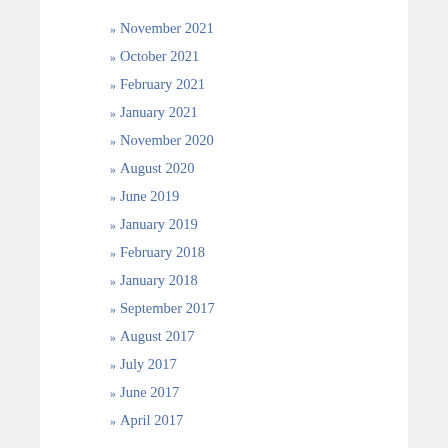» November 2021
» October 2021
» February 2021
» January 2021
» November 2020
» August 2020
» June 2019
» January 2019
» February 2018
» January 2018
» September 2017
» August 2017
» July 2017
» June 2017
» April 2017